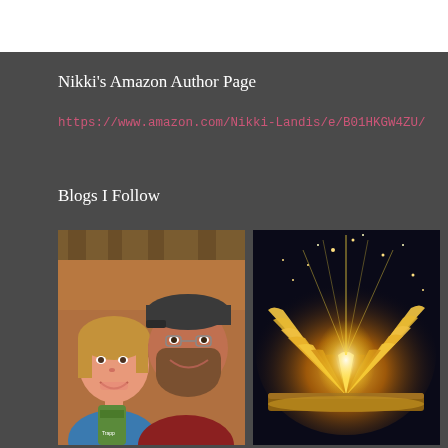Nikki's Amazon Author Page
https://www.amazon.com/Nikki-Landis/e/B01HKGW4ZU/
Blogs I Follow
[Figure (photo): Selfie photo of a smiling woman and a bearded man wearing a baseball cap, taken indoors with wooden ceiling beams visible in the background]
[Figure (photo): Fantasy-style image of an open book with glowing golden light and sparkling stars emanating from its pages against a dark background]